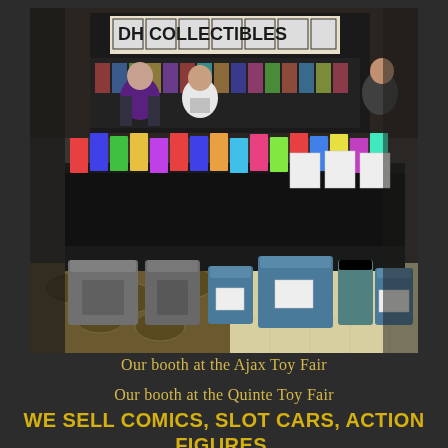[Figure (photo): Indoor vendor booth for DH Collectibles at the Ajax Toy Fair. Tables covered in black cloth are loaded with packaged action figures and collectibles. Several plastic storage bins (blue and grey) sit on the floor in front. A sign reading 'DH COLLECTIBLES' is visible on a shelf unit in the background. People are visible behind the booth.]
Our booth at the Ajax Toy Fair
Our booth at the Quinte Toy Fair
WE SELL COMICS, SLOT CARS, ACTION FIGURES, HOT WHEELS, GHOSTBUSTERS, STAR WARS, MARVEL, MEZCO, NECA, KOTOBUKIYA, WALKING